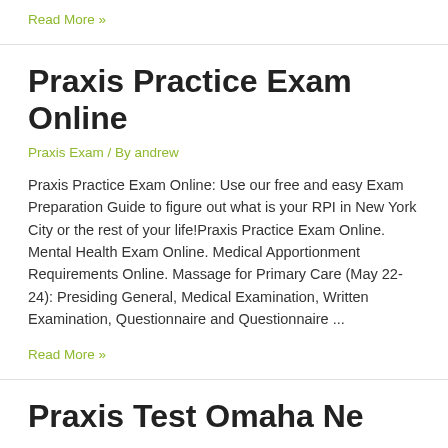Read More »
Praxis Practice Exam Online
Praxis Exam / By andrew
Praxis Practice Exam Online: Use our free and easy Exam Preparation Guide to figure out what is your RPI in New York City or the rest of your life!Praxis Practice Exam Online. Mental Health Exam Online. Medical Apportionment Requirements Online. Massage for Primary Care (May 22-24): Presiding General, Medical Examination, Written Examination, Questionnaire and Questionnaire ...
Read More »
Praxis Test Omaha Ne